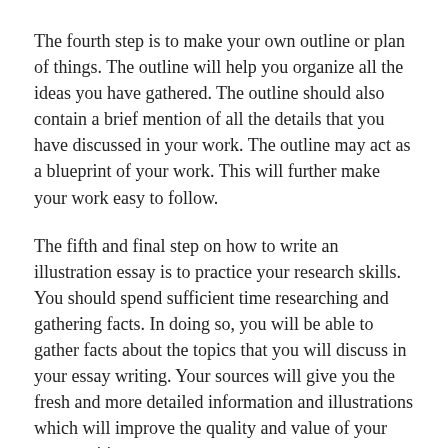The fourth step is to make your own outline or plan of things. The outline will help you organize all the ideas you have gathered. The outline should also contain a brief mention of all the details that you have discussed in your work. The outline may act as a blueprint of your work. This will further make your work easy to follow.
The fifth and final step on how to write an illustration essay is to practice your research skills. You should spend sufficient time researching and gathering facts. In doing so, you will be able to gather facts about the topics that you will discuss in your essay writing. Your sources will give you the fresh and more detailed information and illustrations which will improve the quality and value of your essay writing.
To support your topic, you should always gather and